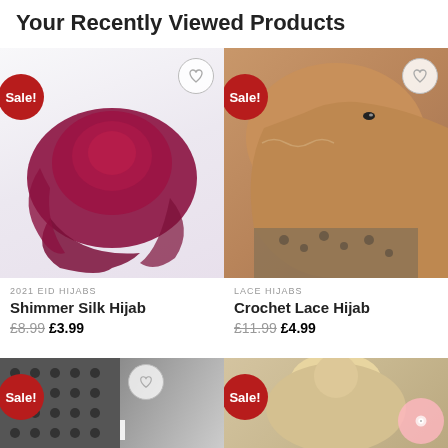Your Recently Viewed Products
[Figure (photo): Red shimmer silk hijab scarf on white background with Sale badge]
2021 EID HIJABS
Shimmer Silk Hijab
£8.99  £3.99
[Figure (photo): Woman wearing golden/tan crochet lace hijab with leopard print top, Sale badge]
LACE HIJABS
Crochet Lace Hijab
£11.99  £4.99
[Figure (photo): Gift set product partially visible, Sale badge, text 'ya Gift Set']
[Figure (photo): Blonde woman wearing hijab, Sale badge, chat bubble icon visible]